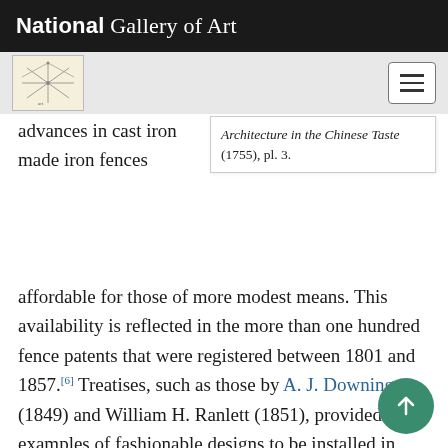National Gallery of Art
Architecture in the Chinese Taste (1755), pl. 3.
advances in cast iron made iron fences affordable for those of more modest means. This availability is reflected in the more than one hundred fence patents that were registered between 1801 and 1857.[6] Treatises, such as those by A. J. Downing (1849) and William H. Ranlett (1851), provided examples of fashionable designs to be installed in front of suburban yards. Elaborate iron-work fences were particularly popular as enclosures for urban parks [Fig. 5], educational institutions [Fig. 6], and family burial plots